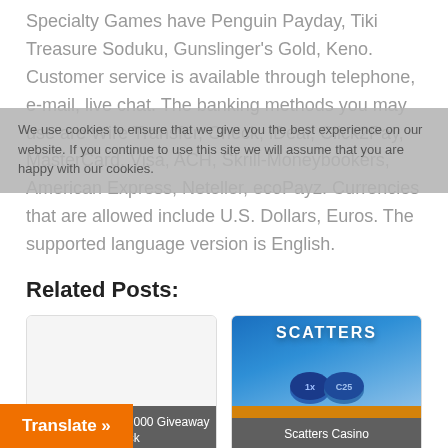Specialty Games have Penguin Payday, Tiki Treasure Soduku, Gunslinger's Gold, Keno. Customer service is available through telephone, e-mail, live chat. The banking methods you may use are Wire Transfer, Check, iDeal, Click2Pay, MasterCard, Visa, ACH, Skrill-Moneybookers, American Express, Neteller, ecoPayz. Currencies that are allowed include U.S. Dollars, Euros. The supported language version is English.
Related Posts:
[Figure (other): Card thumbnail for 'Cash Craze: €100,000 Giveaway - Black [Casino]' - blank/grey image area with dark overlay label]
[Figure (photo): Card thumbnail for Scatters Casino - blue gradient background with SCATTERS text and casino chip coins]
We use cookies to ensure that we give you the best experience on our website. If you continue to use this site we will assume that you are happy with our cookies.
Translate »